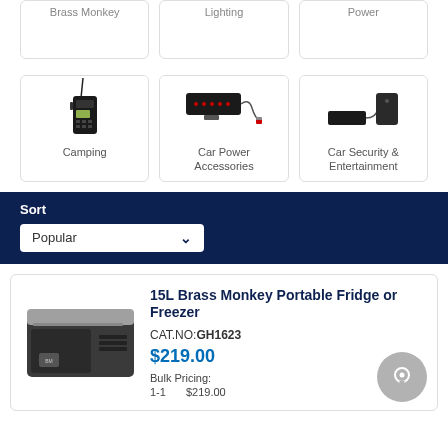[Figure (other): Top row category cards partially visible: Brass Monkey, Lighting, Power]
[Figure (other): Three category cards: Camping (walkie-talkie image), Car Power Accessories (LED sign image), Car Security & Entertainment (security device image)]
Sort
Popular
15L Brass Monkey Portable Fridge or Freezer
CAT.NO: GH1623
$219.00
Bulk Pricing:
1-1    $219.00